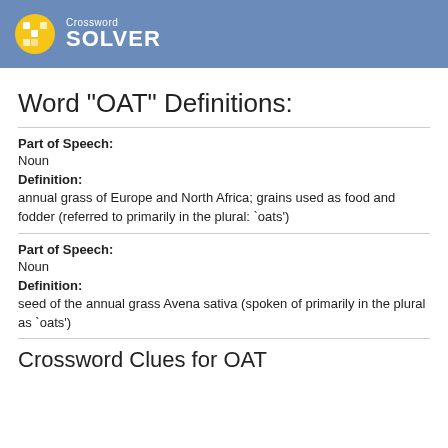Crossword SOLVER
Word "OAT" Definitions:
Part of Speech:
Noun
Definition:
annual grass of Europe and North Africa; grains used as food and fodder (referred to primarily in the plural: `oats')
Part of Speech:
Noun
Definition:
seed of the annual grass Avena sativa (spoken of primarily in the plural as `oats')
Crossword Clues for OAT